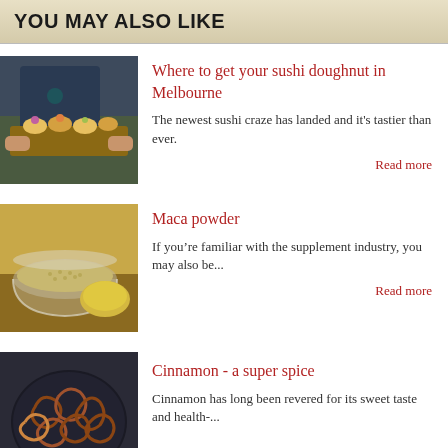YOU MAY ALSO LIKE
Where to get your sushi doughnut in Melbourne
[Figure (photo): Person in dark apron holding a wooden board with colorful sushi bites topped with edible flowers]
The newest sushi craze has landed and it's tastier than ever.
Read more
Maca powder
[Figure (photo): A glass bowl filled with maca powder with a yellow root vegetable beside it on a wooden surface]
If you’re familiar with the supplement industry, you may also be...
Read more
Cinnamon - a super spice
[Figure (photo): A plate of curled cinnamon sticks arranged together viewed from above]
Cinnamon has long been revered for its sweet taste and health-...